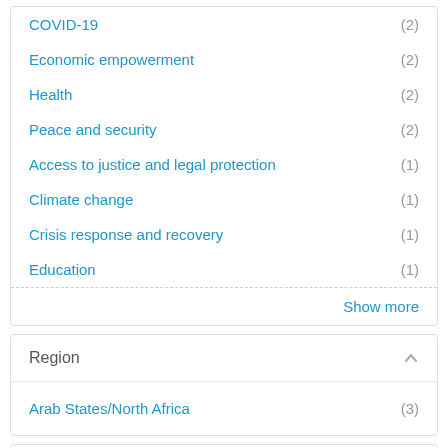COVID-19 (2)
Economic empowerment (2)
Health (2)
Peace and security (2)
Access to justice and legal protection (1)
Climate change (1)
Crisis response and recovery (1)
Education (1)
Show more
Region
Arab States/North Africa (3)
Country
Tunisia (2)